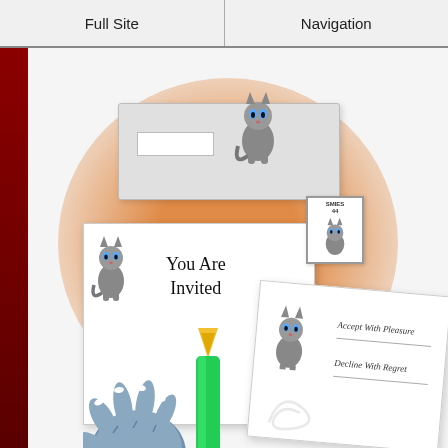Full Site | Navigation
[Figure (illustration): Illustration of cat-themed stationery set on an orange background: an envelope with a cat stamp, an invitation card reading 'You Are Invited' with a cat graphic, a postage stamp with a cat, an RSVP response card with 'Accept With Pleasure' and 'Decline With Regret' options and a cat graphic, a green and yellow fountain pen, and a blue cartoon hand holding a pen.]